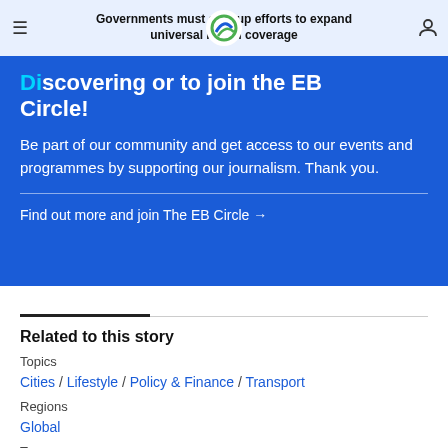Governments must step up efforts to expand universal health coverage
Discovering or to join the EB Circle!
Be part of our community and get access to our events and programmes by supporting our journalism. Thank you.
Find out more and join The EB Circle →
Related to this story
Topics
Cities / Lifestyle / Policy & Finance / Transport
Regions
Global
Tags
governance / healthcare / human rights / inequality /